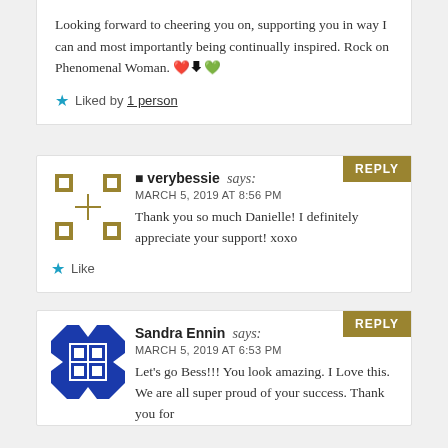Looking forward to cheering you on, supporting you in way I can and most importantly being continually inspired. Rock on Phenomenal Woman. ❤️🖤💚
Liked by 1 person
verybessie says:
MARCH 5, 2019 AT 8:56 PM
Thank you so much Danielle! I definitely appreciate your support! xoxo
Like
Sandra Ennin says:
MARCH 5, 2019 AT 6:53 PM
Let's go Bess!!! You look amazing. I Love this. We are all super proud of your success. Thank you for